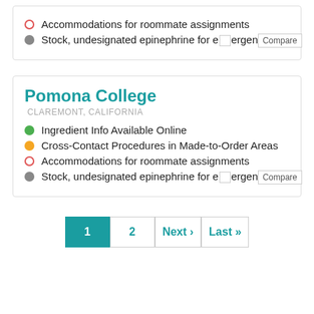Accommodations for roommate assignments
Stock, undesignated epinephrine for emergencies
Pomona College
CLAREMONT, CALIFORNIA
Ingredient Info Available Online
Cross-Contact Procedures in Made-to-Order Areas
Accommodations for roommate assignments
Stock, undesignated epinephrine for emergencies
1  2  Next ›  Last »